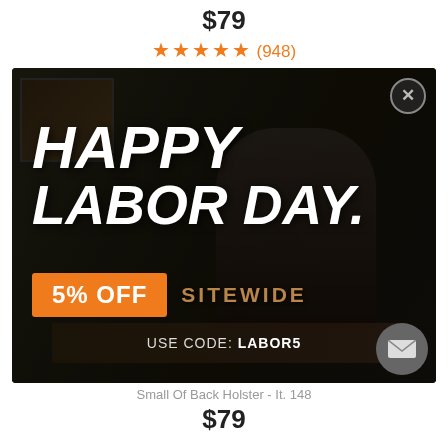$79
★★★★★ (948)
[Figure (photo): Labor Day promotional popup overlay on an e-commerce page. Shows a man sitting at a table in a dark room with paintings on the wall. Text reads 'HAPPY LABOR DAY. 5% OFF SITEWIDE USE CODE: LABOR5'. Close button (X) in top right. Mail/envelope button in bottom right.]
Small Of Back Holster - It. 148
$79